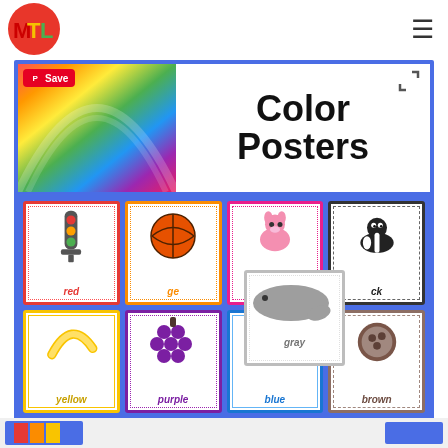[Figure (logo): MTL circular logo with red M, yellow T, green L on red circle background]
[Figure (illustration): Color Posters educational material showing color cards with red traffic light, orange basketball, pink donkey, black skunk, yellow banana, purple grapes, green pin, gray whale, blue jay, brown coconut, labeled with color names]
[Figure (illustration): Partial thumbnail of another color-related educational poster visible at bottom]